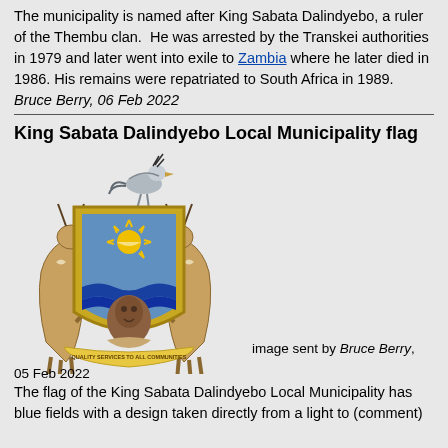The municipality is named after King Sabata Dalindyebo, a ruler of the Thembu clan. He was arrested by the Transkei authorities in 1979 and later went into exile to Zambia where he later died in 1986. His remains were repatriated to South Africa in 1989.
Bruce Berry, 06 Feb 2022
King Sabata Dalindyebo Local Municipality flag
[Figure (illustration): Coat of arms of King Sabata Dalindyebo Local Municipality featuring two springbok supporters, a shield with a rising sun and portrait of King Sabata, a secretary bird crest, and a banner reading 'Quality Services to All Communities']
image sent by Bruce Berry, 05 Feb 2022
The flag of the King Sabata Dalindyebo Local Municipality has blue fields with a design taken directly from a light to (comment)